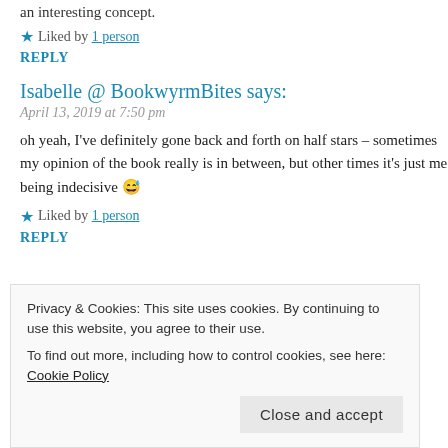an interesting concept.
★ Liked by 1 person
REPLY
Isabelle @ BookwyrmBites says:
April 13, 2019 at 7:50 pm
oh yeah, I've definitely gone back and forth on half stars – sometimes my opinion of the book really is in between, but other times it's just me being indecisive 😅
★ Liked by 1 person
REPLY
Privacy & Cookies: This site uses cookies. By continuing to use this website, you agree to their use. To find out more, including how to control cookies, see here: Cookie Policy